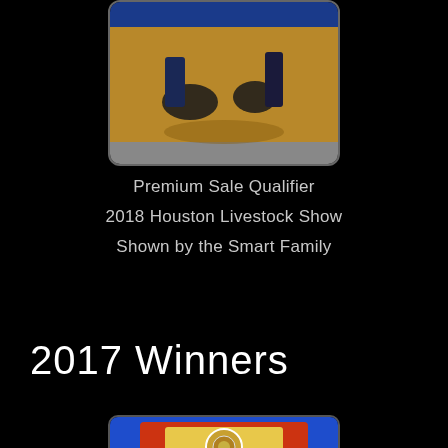[Figure (photo): Livestock show photo showing an animal (likely a hog/pig) being shown in an arena with sawdust/grain on the ground, handlers in dark clothing visible]
Premium Sale Qualifier
2018 Houston Livestock Show
Shown by the Smart Family
2017 Winners
[Figure (photo): Livestock show photo showing a blue and red ribbon/banner display with a medallion or badge, partial view at bottom of page]